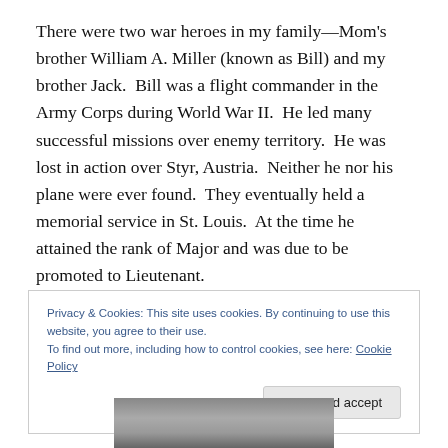There were two war heroes in my family—Mom's brother William A. Miller (known as Bill) and my brother Jack. Bill was a flight commander in the Army Corps during World War II. He led many successful missions over enemy territory. He was lost in action over Styr, Austria. Neither he nor his plane were ever found. They eventually held a memorial service in St. Louis. At the time he attained the rank of Major and was due to be promoted to Lieutenant.
Privacy & Cookies: This site uses cookies. By continuing to use this website, you agree to their use. To find out more, including how to control cookies, see here: Cookie Policy
[Figure (photo): Partial photo of a person visible at the bottom of the page, mostly cut off.]